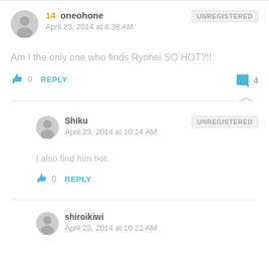14  oneohone — April 23, 2014 at 8:38 AM — UNREGISTERED
Am I the only one who finds Ryohei SO HOT?!!
0  REPLY   4
Shiku — April 23, 2014 at 10:14 AM — UNREGISTERED
I also find him hot.
0  REPLY
shiroikiwi — April 23, 2014 at 10:21 AM